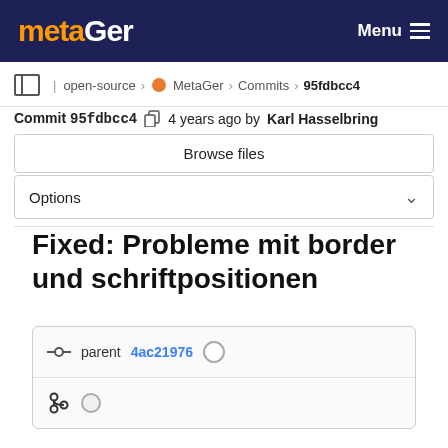metaGer  Menu
open-source › MetaGer › Commits › 95fdbcc4
Commit 95fdbcc4  4 years ago by Karl Hasselbring
Browse files
Options
Fixed: Probleme mit border und schriftpositionen
parent 4ac21976